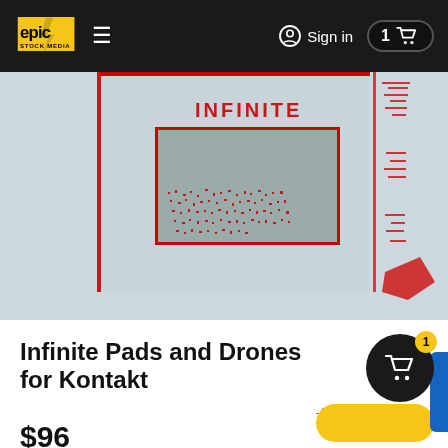Epic Stock Media — Sign in — Cart: 1
[Figure (screenshot): Product preview image showing Infinite Pads and Drones for Kontakt plugin interface with red particle/text effects on a light blue/grey background]
Infinite Pads and Drones for Kontakt
$96